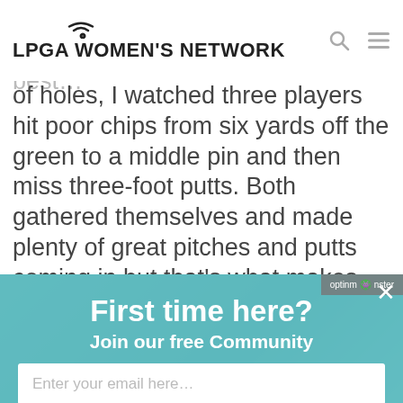LPGA WOMEN'S NETWORK
of holes, I watched three players hit poor chips from six yards off the green to a middle pin and then miss three-foot putts. Both gathered themselves and made plenty of great pitches and putts coming in but that's what makes for champions.
[Figure (screenshot): OptinMonster popup overlay with teal background showing 'First time here? Join our free Community' with email input and SUBSCIRBE button]
First time here?
Join our free Community
Enter your email here...
SUBSCIRBE